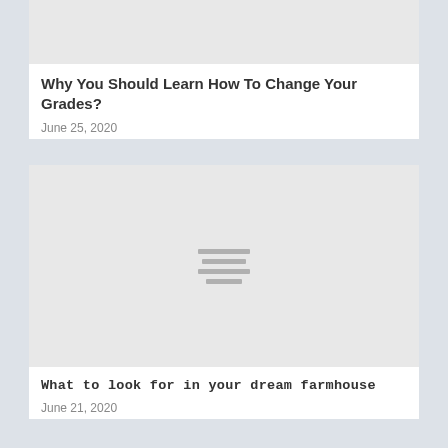[Figure (other): Gray image placeholder at top of first article card]
Why You Should Learn How To Change Your Grades?
June 25, 2020
[Figure (other): Gray image placeholder with centered lines icon for second article card]
What to look for in your dream farmhouse
June 21, 2020